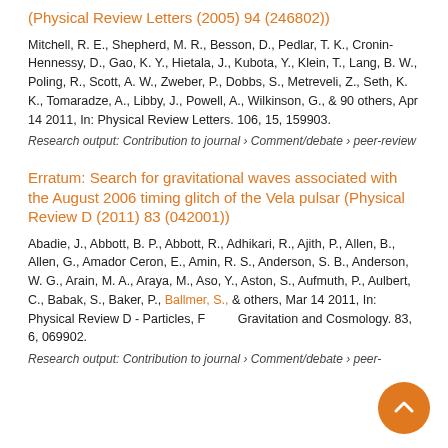(Physical Review Letters (2005) 94 (246802))
Mitchell, R. E., Shepherd, M. R., Besson, D., Pedlar, T. K., Cronin-Hennessy, D., Gao, K. Y., Hietala, J., Kubota, Y., Klein, T., Lang, B. W., Poling, R., Scott, A. W., Zweber, P., Dobbs, S., Metreveli, Z., Seth, K. K., Tomaradze, A., Libby, J., Powell, A., Wilkinson, G., & 90 others, Apr 14 2011, In: Physical Review Letters. 106, 15, 159903.
Research output: Contribution to journal › Comment/debate › peer-review
Erratum: Search for gravitational waves associated with the August 2006 timing glitch of the Vela pulsar (Physical Review D (2011) 83 (042001))
Abadie, J., Abbott, B. P., Abbott, R., Adhikari, R., Ajith, P., Allen, B., Allen, G., Amador Ceron, E., Amin, R. S., Anderson, S. B., Anderson, W. G., Arain, M. A., Araya, M., Aso, Y., Aston, S., Aufmuth, P., Aulbert, C., Babak, S., Baker, P., Ballmer, S., & others, Mar 14 2011, In: Physical Review D - Particles, Fields, Gravitation and Cosmology. 83, 6, 069902.
Research output: Contribution to journal › Comment/debate › peer-